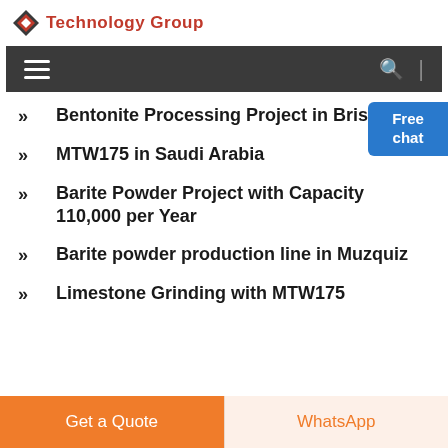Technology Group
Bentonite Processing Project in Brisbane
MTW175 in Saudi Arabia
Barite Powder Project with Capacity 110,000 per Year
Barite powder production line in Muzquiz
Limestone Grinding with MTW175
Free chat
Get a Quote | WhatsApp